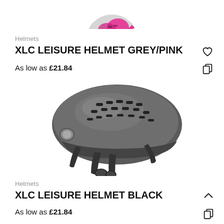[Figure (photo): Partial view of a pink/grey XLC leisure helmet at top of page]
Helmets
XLC LEISURE HELMET GREY/PINK
As low as £21.84
[Figure (photo): Grey/black XLC leisure bicycle helmet with chin straps, side view]
Helmets
XLC LEISURE HELMET BLACK
As low as £21.84